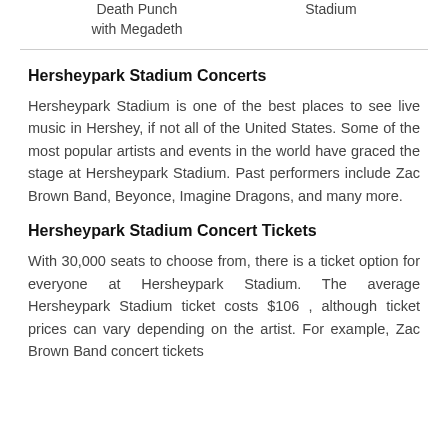Death Punch with Megadeth    Stadium
Hersheypark Stadium Concerts
Hersheypark Stadium is one of the best places to see live music in Hershey, if not all of the United States. Some of the most popular artists and events in the world have graced the stage at Hersheypark Stadium. Past performers include Zac Brown Band, Beyonce, Imagine Dragons, and many more.
Hersheypark Stadium Concert Tickets
With 30,000 seats to choose from, there is a ticket option for everyone at Hersheypark Stadium. The average Hersheypark Stadium ticket costs $106 , although ticket prices can vary depending on the artist. For example, Zac Brown Band concert tickets